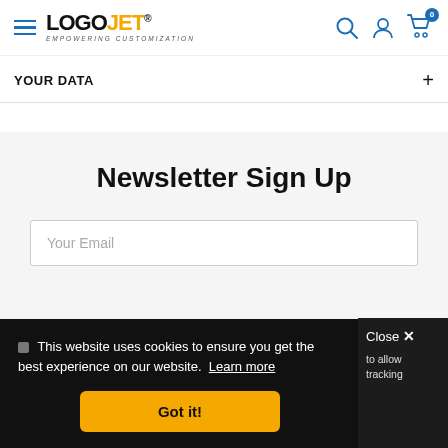[Figure (logo): LogoJet logo with hamburger menu icon. Text reads LOGOJET with EMPOWERING CUSTOMIZATION below. Navigation icons: search, user, cart with badge 0.]
YOUR DATA
Newsletter Sign Up
Your Email
🍪 This website uses cookies to ensure you get the best experience on our website. Learn more
Got it!
Close ✕
to allow tracking